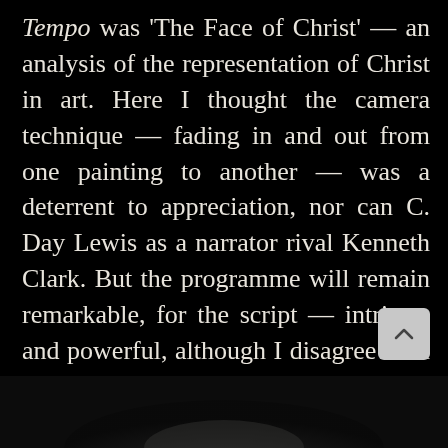Tempo was 'The Face of Christ' — an analysis of the representation of Christ in art. Here I thought the camera technique — fading in and out from one painting to another — was a deterrent to appreciation, nor can C. Day Lewis as a narrator rival Kenneth Clark. But the programme will remain remarkable, for the script — intricate and powerful, although I disagree with its anti-romantic view — was written by the late John Whiting; as such it is in itself a contribution to literature.
[Figure (photo): Dark bottom portion of the page showing a faint image, likely a photograph, with very low contrast against the black background.]